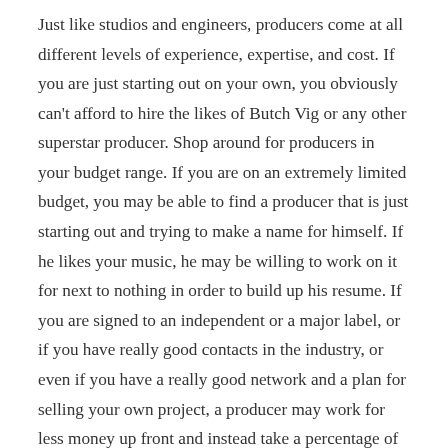Just like studios and engineers, producers come at all different levels of experience, expertise, and cost. If you are just starting out on your own, you obviously can't afford to hire the likes of Butch Vig or any other superstar producer. Shop around for producers in your budget range. If you are on an extremely limited budget, you may be able to find a producer that is just starting out and trying to make a name for himself. If he likes your music, he may be willing to work on it for next to nothing in order to build up his resume. If you are signed to an independent or a major label, or if you have really good contacts in the industry, or even if you have a really good network and a plan for selling your own project, a producer may work for less money up front and instead take a percentage of sales. In fact, this is the way that most professional producers working on label projects get paid. They usually get some flat fee up front